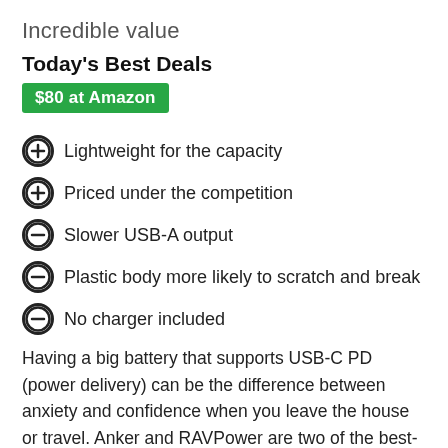Incredible value
Today's Best Deals
$80 at Amazon
Lightweight for the capacity
Priced under the competition
Slower USB-A output
Plastic body more likely to scratch and break
No charger included
Having a big battery that supports USB-C PD (power delivery) can be the difference between anxiety and confidence when you leave the house or travel. Anker and RAVPower are two of the best-known companies when it comes to portable batteries, and each makes a 26800mAh version with near-identical features.